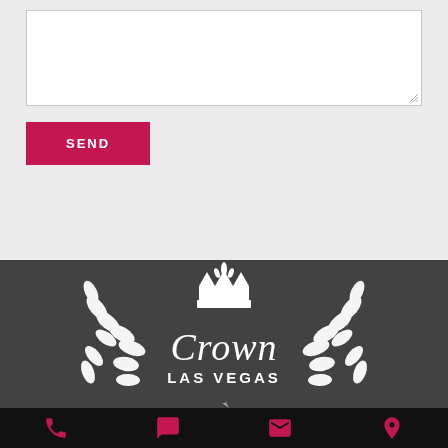[Figure (screenshot): Textarea input box with resize handle in bottom-right corner, on a light grey background]
[Figure (screenshot): SEND button - crimson/pink background with white uppercase text]
[Figure (logo): Crown Las Vegas logo: white laurel wreath with crown and fleur-de-lis on top, cursive 'Crown' text, 'LAS VEGAS' in bold uppercase beneath, on dark grey background]
[Figure (screenshot): Footer bar with four icons: phone, chat bubble, envelope, and map pin — all in crimson pink on black background]